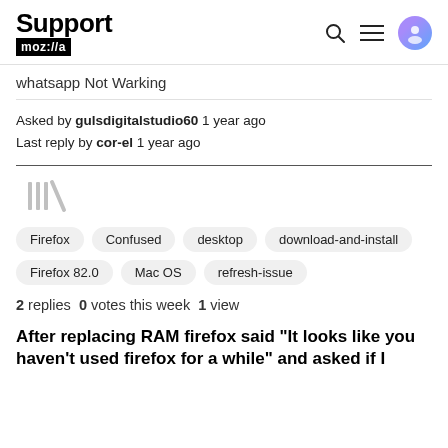Support moz://a
whatsapp Not Warking
Asked by gulsdigitalstudio60 1 year ago
Last reply by cor-el 1 year ago
[Figure (other): Archive/library icon in gray]
Firefox
Confused
desktop
download-and-install
Firefox 82.0
Mac OS
refresh-issue
2 replies  0 votes this week  1 view
After replacing RAM firefox said "It looks like you haven't used firefox for a while" and asked if I